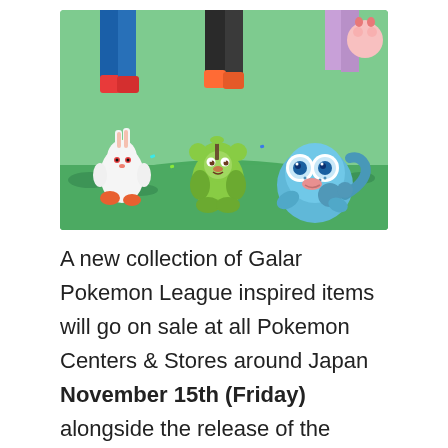[Figure (illustration): Promotional illustration showing Galar region starter Pokemon: Scorbunny (white rabbit-like), Grookey (green monkey-like), and Sobble (blue lizard-like) on a grassy background with confetti. Human trainer legs visible in background.]
A new collection of Galar Pokemon League inspired items will go on sale at all Pokemon Centers & Stores around Japan November 15th (Friday) alongside the release of the Pokemon Sword & Shield games.